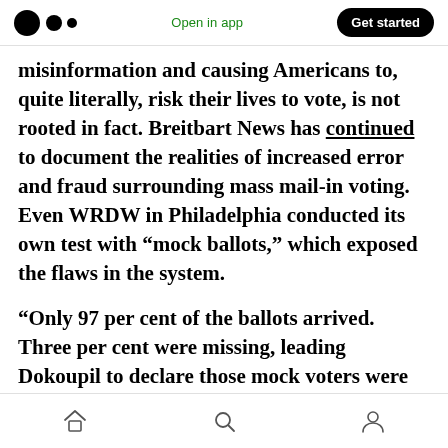Open in app | Get started
misinformation and causing Americans to, quite literally, risk their lives to vote, is not rooted in fact. Breitbart News has continued to document the realities of increased error and fraud surrounding mass mail-in voting. Even WRDW in Philadelphia conducted its own test with “mock ballots,” which exposed the flaws in the system.
“Only 97 per cent of the ballots arrived. Three per cent were missing, leading Dokoupil to declare those mock voters were
Home | Search | Profile